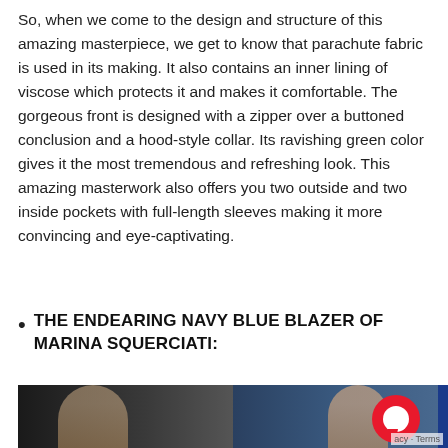So, when we come to the design and structure of this amazing masterpiece, we get to know that parachute fabric is used in its making. It also contains an inner lining of viscose which protects it and makes it comfortable. The gorgeous front is designed with a zipper over a buttoned conclusion and a hood-style collar. Its ravishing green color gives it the most tremendous and refreshing look. This amazing masterwork also offers you two outside and two inside pockets with full-length sleeves making it more convincing and eye-captivating.
THE ENDEARING NAVY BLUE BLAZER OF MARINA SQUERCIATI:
[Figure (photo): Photo of two women, one on left in dark setting, one on right in blue-tinted setting, with a red chat icon overlay in bottom right corner.]